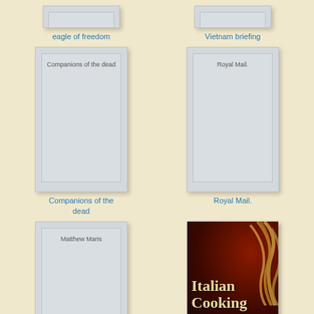[Figure (illustration): Top partial view of book cover - eagle of freedom]
eagle of freedom
[Figure (illustration): Top partial view of book cover - Vietnam briefing]
Vietnam briefing
[Figure (illustration): Book cover placeholder - Companions of the dead]
Companions of the dead
[Figure (illustration): Book cover placeholder - Royal Mail.]
Royal Mail.
[Figure (illustration): Book cover placeholder - Matthew Maris]
[Figure (illustration): Book cover - Italian Cooking with pasta image]